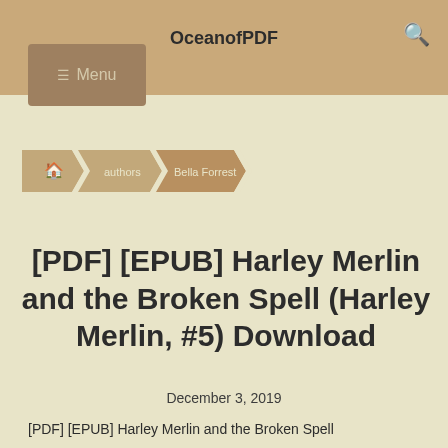OceanofPDF
[Figure (screenshot): Breadcrumb navigation with home icon, authors, Bella Forrest links]
[PDF] [EPUB] Harley Merlin and the Broken Spell (Harley Merlin, #5) Download
December 3, 2019
[PDF] [EPUB] Harley Merlin and the Broken Spell